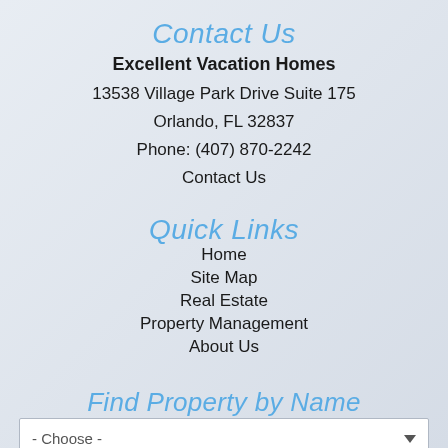Contact Us
Excellent Vacation Homes
13538 Village Park Drive Suite 175
Orlando, FL 32837
Phone: (407) 870-2242
Contact Us
Quick Links
Home
Site Map
Real Estate
Property Management
About Us
Find Property by Name
- Choose -